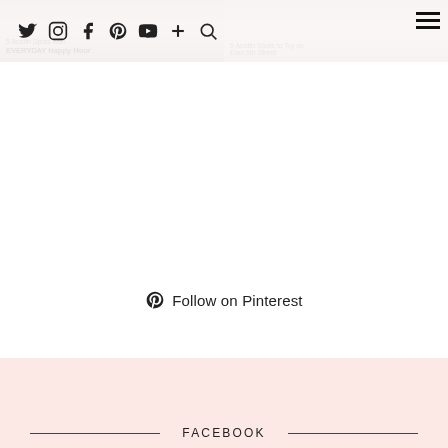[Figure (screenshot): Two partially visible blog post thumbnails at the top: left shows '5 Austin Spots with EVERYDAY Happy Hour', right shows '5 Austin Spots to Try on East 6th Street']
Navigation bar with social icons: Twitter, Instagram, Facebook, Pinterest, YouTube, Plus, Search, and hamburger menu
Follow on Pinterest
FACEBOOK